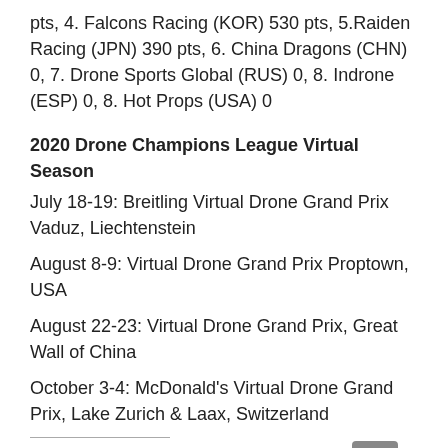pts, 4. Falcons Racing (KOR) 530 pts, 5.Raiden Racing (JPN) 390 pts, 6. China Dragons (CHN) 0, 7. Drone Sports Global (RUS) 0, 8. Indrone (ESP) 0, 8. Hot Props (USA) 0
2020 Drone Champions League Virtual Season
July 18-19: Breitling Virtual Drone Grand Prix Vaduz, Liechtenstein
August 8-9: Virtual Drone Grand Prix Proptown, USA
August 22-23: Virtual Drone Grand Prix, Great Wall of China
October 3-4: McDonald's Virtual Drone Grand Prix, Lake Zurich & Laax, Switzerland
Share this:
[Figure (other): Share button with share icon and label 'Share']
[Figure (other): Back to top button (grey square with upward chevron arrow)]